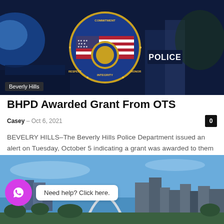[Figure (photo): Beverly Hills Police Department badge/emblem over a blue-tinted police scene background with 'POLICE' sign visible]
BHPD Awarded Grant From OTS
Casey – Oct 6, 2021  [comment count: 0]
BEVELRY HILLS–The Beverly Hills Police Department issued an alert on Tuesday, October 5 indicating a grant was awarded to them in the amount of...
[Figure (photo): Aerial cityscape photo showing St. Louis Gateway Arch and downtown skyline under blue sky]
Need help? Click here.